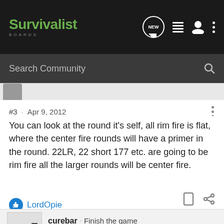Survivalist Boards
Search Community
#3 · Apr 9, 2012
You can look at the round it's self, all rim fire is flat, where the center fire rounds will have a primer in the round. 22LR, 22 short 177 etc. are going to be rim fire all the larger rounds will be center fire.
LordOpie
curebar · Finish the game
Joined Jan 29, 2012 · 1,861 Posts
#4 · Apr 9, 2012